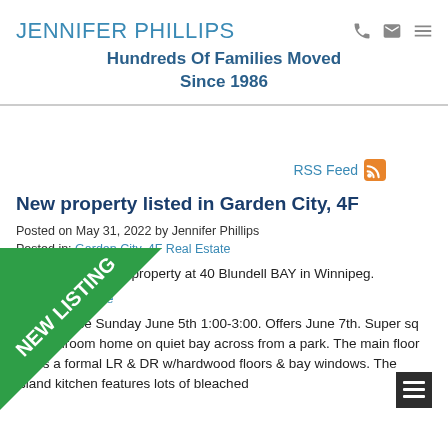JENNIFER PHILLIPS
Hundreds Of Families Moved Since 1986
RSS Feed
New property listed in Garden City, 4F
Posted on May 31, 2022 by Jennifer Phillips
Posted in: Garden City, 4F Real Estate
I have listed a new property at 40 Blundell BAY in Winnipeg.
See details here
Open House Sunday June 5th 1:00-3:00. Offers June 7th. Super sq ft, 4 bedroom home on quiet bay across from a park. The main floor offers a formal LR & DR w/hardwood floors & bay windows. The island kitchen features lots of bleached